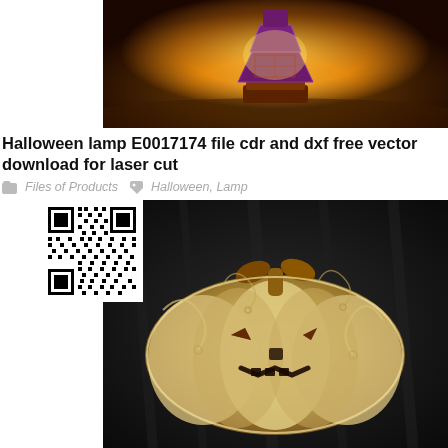[Figure (photo): Halloween decorative lamp with geometric layered design glowing with warm yellow/orange light on a dark surface]
Halloween lamp E0017174 file cdr and dxf free vector download for laser cut
Files of Products   Halloween, Lamp
[Figure (photo): Laser-cut Halloween pumpkin jack-o-lantern decorative piece with intricate floral/vine cutout design on dark wood background, with QR code overlay in top-left corner]